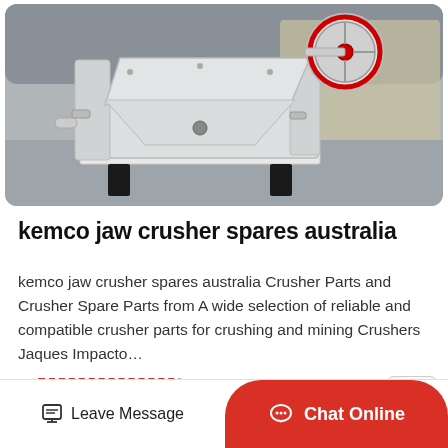[Figure (photo): Industrial jaw crusher machine — white/grey heavy equipment with large flywheel, photographed in a factory/warehouse setting. The crusher is mounted on black cylindrical feet on a concrete floor.]
kemco jaw crusher spares australia
kemco jaw crusher spares australia Crusher Parts and Crusher Spare Parts from A wide selection of reliable and compatible crusher parts for crushing and mining Crushers Jaques Impacto…
Read More
Leave Message
Chat Online